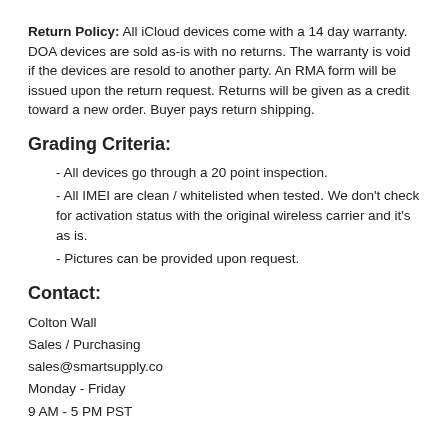Return Policy: All iCloud devices come with a 14 day warranty. DOA devices are sold as-is with no returns. The warranty is void if the devices are resold to another party. An RMA form will be issued upon the return request. Returns will be given as a credit toward a new order. Buyer pays return shipping.
Grading Criteria:
- All devices go through a 20 point inspection.
- All IMEI are clean / whitelisted when tested. We don't check for activation status with the original wireless carrier and it's as is.
- Pictures can be provided upon request.
Contact:
Colton Wall
Sales / Purchasing
sales@smartsupply.co
Monday - Friday
9 AM - 5 PM PST